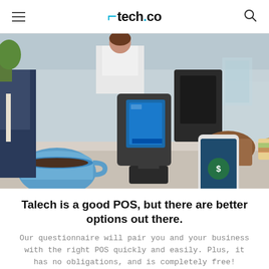tech.co
[Figure (photo): A POS terminal on a cafe counter with a person holding a smartphone to make a contactless payment. A coffee cup, bagels, and sandwiches are visible in the background.]
Talech is a good POS, but there are better options out there.
Our questionnaire will pair you and your business with the right POS quickly and easily. Plus, it has no obligations, and is completely free!